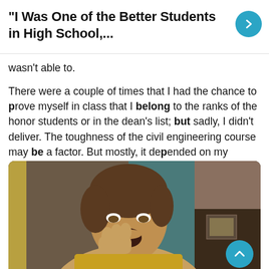“I Was One of the Better Students in High School,...
wasn’t able to.
There were a couple of times that I had the chance to prove myself in class that I belong to the ranks of the honor students or in the dean’s list; but sadly, I didn’t deliver. The toughness of the civil engineering course may be a factor. But mostly, it depended on my capacity.
[Figure (photo): A person with an open mouth expression, hand raised to face, appearing surprised or yawning, with ornate background furniture visible]